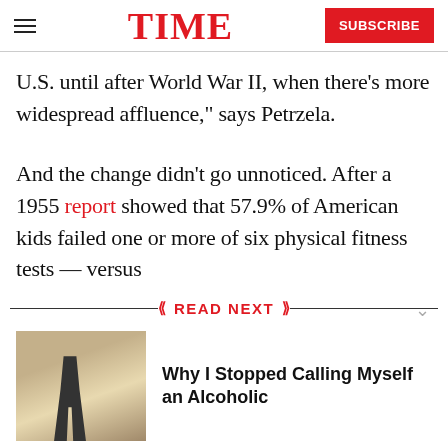TIME
U.S. until after World War II, when there’s more widespread affluence,” says Petrzela.
And the change didn’t go unnoticed. After a 1955 report showed that 57.9% of American kids failed one or more of six physical fitness tests — versus
READ NEXT
[Figure (photo): A person standing against a light-colored wall, wearing a dark outfit]
Why I Stopped Calling Myself an Alcoholic